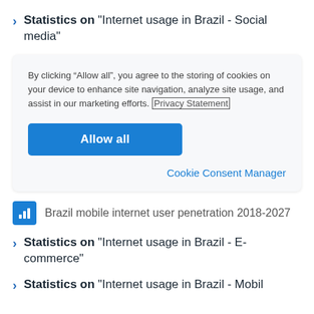Statistics on "Internet usage in Brazil - Social media"
By clicking “Allow all”, you agree to the storing of cookies on your device to enhance site navigation, analyze site usage, and assist in our marketing efforts. Privacy Statement
Allow all
Cookie Consent Manager
Brazil mobile internet user penetration 2018-2027
Statistics on "Internet usage in Brazil - E-commerce"
Statistics on "Internet usage in Brazil - Mobil